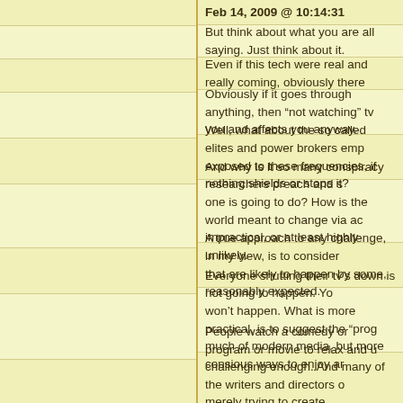Feb 14, 2009 @ 10:14:31
But think about what you are all saying. Just think about it.
Even if this tech were real and really coming, obviously there
Obviously if it goes through anything, then "not watching" tv you and affects you anyway.
Well, what about the so called elites and power brokers emp exposed to these frequencies, if nothing shields or stops it?
And why is it so many conspiracy researchers preach and s one is going to do? How is the world meant to change via ac impractical, or at least highly unlikely.
A true approach to any challenge, in my view, is to consider that are likely to happen by some, reasonably expected.
Everyone shutting their tv's down is not going to happen. Yo won't happen. What is more practical, is to suggest the "prog much of modern media, but more consious ways to enjoy ar
People watch a comedy or program or movie to relax and u challenging enough. And many of the writers and directors o merely trying to create enterntainment, some even art, Not p